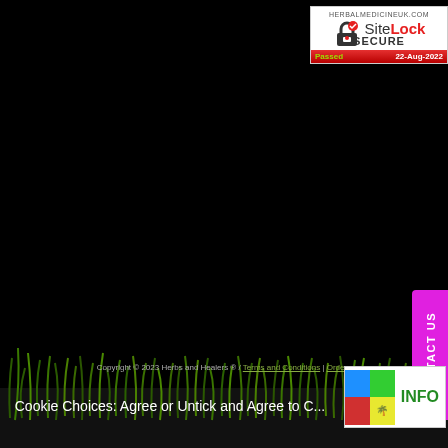[Figure (logo): SiteLock SECURE badge for HERBALMEDICINEUK.COM, Passed 22-Aug-2022]
[Figure (illustration): Black background with green grass at the bottom of the page]
[Figure (other): Magenta CONTACT US vertical button on the right side]
Copyright © 2023 Herbs and Healers ® / Terms and Conditions | Orders
Cookie Choices: Agree or Untick and Agree to C...
[Figure (logo): INFO badge with colorful squares icon in bottom right corner]